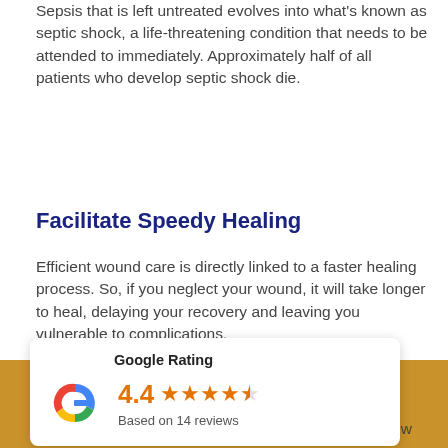Sepsis that is left untreated evolves into what's known as septic shock, a life-threatening condition that needs to be attended to immediately. Approximately half of all patients who develop septic shock die.
Facilitate Speedy Healing
Efficient wound care is directly linked to a faster healing process. So, if you neglect your wound, it will take longer to heal, delaying your recovery and leaving you vulnerable to complications.
Reduce Scarring
A good care plan can help to reduce scarring as the wound he... that not to do can go a
[Figure (other): Google Rating widget showing 4.4 stars based on 14 reviews, with the Google G logo in multicolor (red, yellow, green, blue) and orange star rating display.]